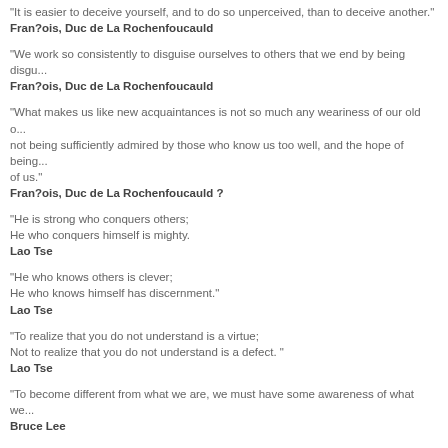"It is easier to deceive yourself, and to do so unperceived, than to deceive another."
Fran?ois, Duc de La Rochenfoucauld
"We work so consistently to disguise ourselves to others that we end by being disgu...
Fran?ois, Duc de La Rochenfoucauld
"What makes us like new acquaintances is not so much any weariness of our old o... not being sufficiently admired by those who know us too well, and the hope of being... of us."
Fran?ois, Duc de La Rochenfoucauld ?
"He is strong who conquers others;
He who conquers himself is mighty.
Lao Tse
"He who knows others is clever;
He who knows himself has discernment."
Lao Tse
"To realize that you do not understand is a virtue;
Not to realize that you do not understand is a defect. "
Lao Tse
"To become different from what we are, we must have some awareness of what we...
Bruce Lee